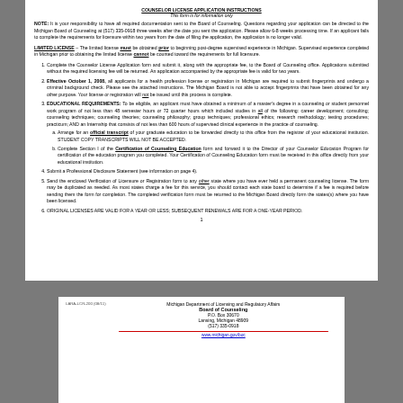This form is for information only
NOTE: It is your responsibility to have all required documentation sent to the Board of Counseling. Questions regarding your application can be directed to the Michigan Board of Counseling at (517) 335-0918 three weeks after the date you sent the application. Please allow 6-8 weeks processing time. If an applicant fails to complete the requirements for licensure within two years from the date of filing the application, the application is no longer valid.
LIMITED LICENSE – The limited license must be obtained prior to beginning post-degree supervised experience in Michigan. Supervised experience completed in Michigan prior to obtaining the limited license cannot be counted toward the requirements for full licensure.
1. Complete the Counselor License Application form and submit it, along with the appropriate fee, to the Board of Counseling office. Applications submitted without the required licensing fee will be returned. An application accompanied by the appropriate fee is valid for two years.
2. Effective October 1, 2008, all applicants for a health profession license or registration in Michigan are required to submit fingerprints and undergo a criminal background check. Please see the attached instructions. The Michigan Board is not able to accept fingerprints that have been obtained for any other purpose. Your license or registration will not be issued until this process is complete.
3. EDUCATIONAL REQUIREMENTS: To be eligible, an applicant must have obtained a minimum of a master's degree in a counseling or student personnel work program of not less than 48 semester hours or 72 quarter hours which included studies in all of the following: career development; consulting; counseling techniques; counseling theories; counseling philosophy; group techniques; professional ethics; research methodology; testing procedures; practicum; AND an Internship that consists of not less than 600 hours of supervised clinical experience in the practice of counseling.
a. Arrange for an official transcript of your graduate education to be forwarded directly to this office from the registrar of your educational institution. STUDENT COPY TRANSCRIPTS WILL NOT BE ACCEPTED.
b. Complete Section I of the Certification of Counseling Education form and forward it to the Director of your Counselor Education Program for certification of the education program you completed. Your Certification of Counseling Education form must be received in this office directly from your educational institution.
4. Submit a Professional Disclosure Statement (see information on page 4).
5. Send the enclosed Verification of Licensure or Registration form to any other state where you have ever held a permanent counseling license. The form may be duplicated as needed. As most states charge a fee for this service, you should contact each state board to determine if a fee is required before sending them the form for completion. The completed verification form must be returned to the Michigan Board directly form the states(s) where you have been licensed.
6. ORIGINAL LICENSES ARE VALID FOR A YEAR OR LESS; SUBSEQUENT RENEWALS ARE FOR A ONE-YEAR PERIOD.
1
Michigan Department of Licensing and Regulatory Affairs Board of Counseling P.O. Box 30670 Lansing, Michigan 48909 (517) 335-0918